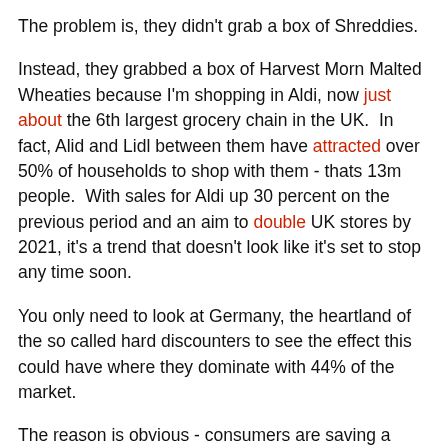The problem is, they didn't grab a box of Shreddies.
Instead, they grabbed a box of Harvest Morn Malted Wheaties because I'm shopping in Aldi, now just about the 6th largest grocery chain in the UK.  In fact, Alid and Lidl between them have attracted over 50% of households to shop with them - thats 13m people.  With sales for Aldi up 30 percent on the previous period and an aim to double UK stores by 2021, it's a trend that doesn't look like it's set to stop any time soon.
You only need to look at Germany, the heartland of the so called hard discounters to see the effect this could have where they dominate with 44% of the market.
The reason is obvious - consumers are saving a tonne of cash!
For example, I get around 625g of Malted Wheaties for 1/3 the price of 500g of Shreddies.  The price today for 500g of Shreddies is £2.49 (49.8p/100g), for Aldi Malted Wheaties its 99p (15.8p/100g).  Overall, these types of savings have translated to pretty much a 50% cut in my household food